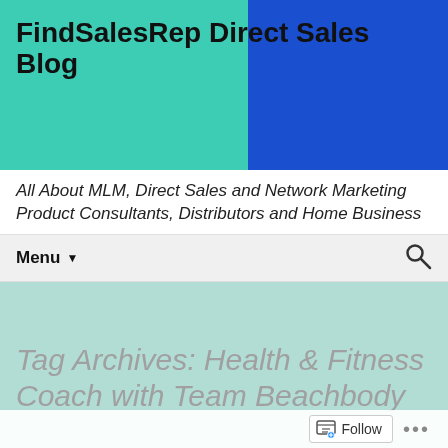FindSalesRep Direct Sales Blog
All About MLM, Direct Sales and Network Marketing Product Consultants, Distributors and Home Business
Menu ▼
Tag Archives: Health & Fitness Coach with Team Beachbody
Gift Advisors Health and Fitness and Wellness Co...